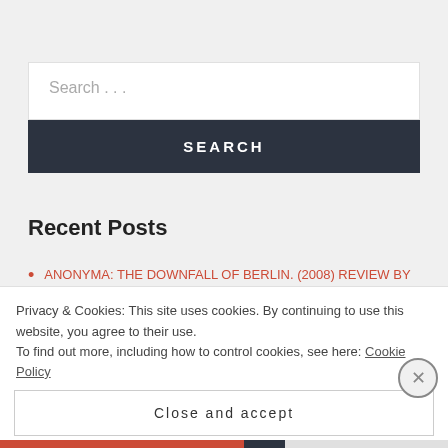Search . . .
SEARCH
Recent Posts
ANONYMA: THE DOWNFALL OF BERLIN. (2008) REVIEW BY SANDRA HARRIS. ©
THE SILENCE. (2010) REVIEW BY SANDRA HARRIS.
Privacy & Cookies: This site uses cookies. By continuing to use this website, you agree to their use.
To find out more, including how to control cookies, see here: Cookie Policy
Close and accept